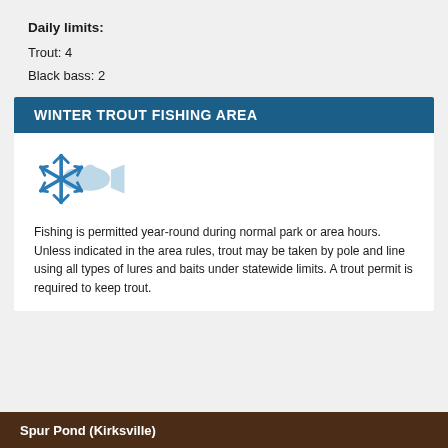Daily limits:
Trout: 4
Black bass: 2
WINTER TROUT FISHING AREA
[Figure (illustration): Winter trout fishing area icon: a light blue fish silhouette and a blue snowflake symbol side by side]
Fishing is permitted year-round during normal park or area hours. Unless indicated in the area rules, trout may be taken by pole and line using all types of lures and baits under statewide limits. A trout permit is required to keep trout.
Spur Pond (Kirksville)